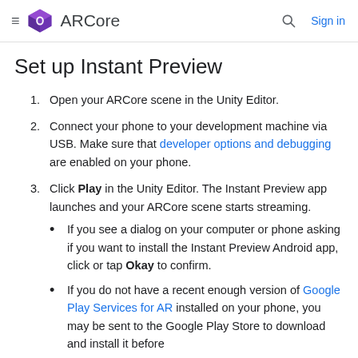≡  ARCore   🔍  Sign in
Set up Instant Preview
1. Open your ARCore scene in the Unity Editor.
2. Connect your phone to your development machine via USB. Make sure that developer options and debugging are enabled on your phone.
3. Click Play in the Unity Editor. The Instant Preview app launches and your ARCore scene starts streaming.
• If you see a dialog on your computer or phone asking if you want to install the Instant Preview Android app, click or tap Okay to confirm.
• If you do not have a recent enough version of Google Play Services for AR installed on your phone, you may be sent to the Google Play Store to download and install it before